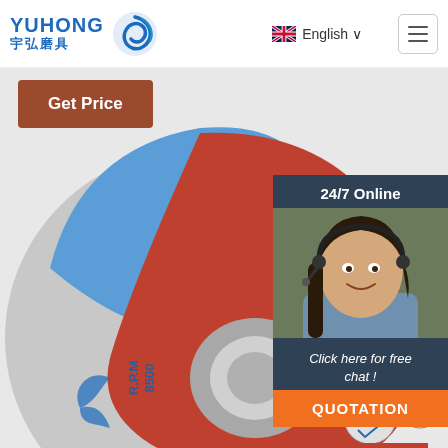[Figure (logo): YUHONG 宇弘磨具 logo with blue swirl icon]
English
Get Price
24/7 Online
[Figure (photo): Customer service representative with headset smiling]
Click here for free chat !
QUOTATION
[Figure (photo): 7 inch cutting disc - T41 A46SBF 180x1.6x22.2mm RPM 8500 KEENDEE brand, red and grey disc with STAIL-STEEL-ACIER-ACERO STAINLESS STEEL label]